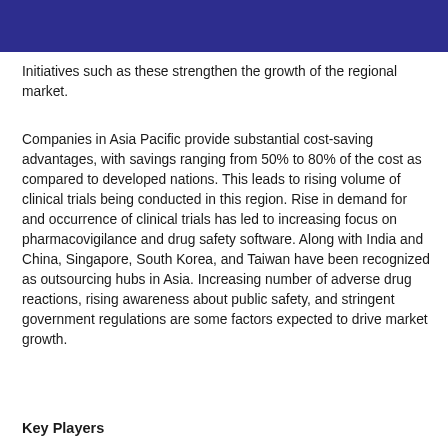Initiatives such as these strengthen the growth of the regional market.
Companies in Asia Pacific provide substantial cost-saving advantages, with savings ranging from 50% to 80% of the cost as compared to developed nations. This leads to rising volume of clinical trials being conducted in this region. Rise in demand for and occurrence of clinical trials has led to increasing focus on pharmacovigilance and drug safety software. Along with India and China, Singapore, South Korea, and Taiwan have been recognized as outsourcing hubs in Asia. Increasing number of adverse drug reactions, rising awareness about public safety, and stringent government regulations are some factors expected to drive market growth.
Key Players
Oracle Corporation; ArisGlobal; AB Cube; Max Delivery;